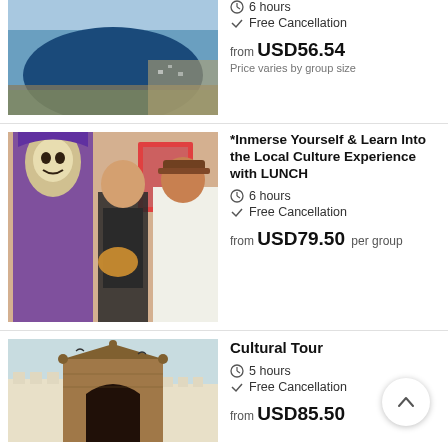[Figure (photo): Aerial view of a coastal bay city with deep blue water]
6 hours
Free Cancellation
from USD56.54
Price varies by group size
[Figure (photo): Two tourists posing with a Santa Muerte / Day of the Dead figure in a colorful market]
*Inmerse Yourself & Learn Into the Local Culture Experience with LUNCH
6 hours
Free Cancellation
from USD79.50 per group
[Figure (photo): Historic stone fortress or colonial gate structure]
Cultural Tour
5 hours
Free Cancellation
from USD85.50